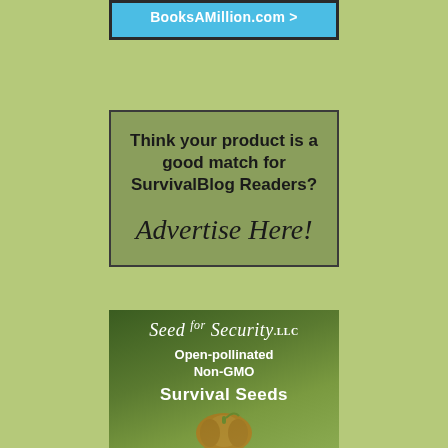[Figure (screenshot): Partial BooksAMillion.com advertisement banner in blue with white text 'BooksAMillion.com >']
[Figure (infographic): Advertisement box with olive/green background. Text reads: 'Think your product is a good match for SurvivalBlog Readers? Advertise Here!']
[Figure (infographic): Seed for Security LLC advertisement. Dark green background with plant imagery. Text: 'Seed for Security LLC - Open-pollinated Non-GMO Survival Seeds']